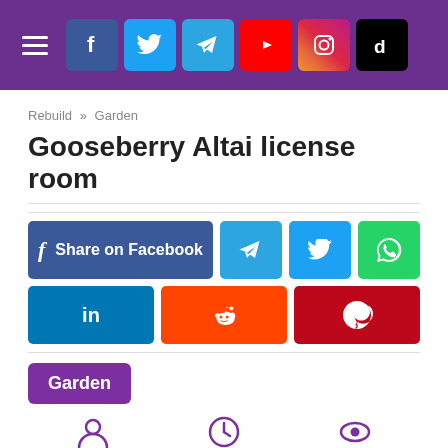Social media navigation header with hamburger menu and icons: Facebook, Twitter, Telegram, YouTube, Instagram, TikTok
Rebuild » Garden
Gooseberry Altai license room
[Figure (infographic): Social share buttons: Share on Facebook, Telegram, Twitter, WhatsApp, LinkedIn, Reddit, Pinterest]
Garden
Author
Dion Bild
Reading
5 min
Views
10